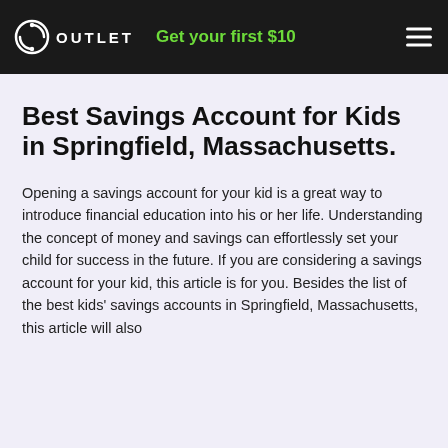OUTLET | Get your first $10
Best Savings Account for Kids in Springfield, Massachusetts.
Opening a savings account for your kid is a great way to introduce financial education into his or her life. Understanding the concept of money and savings can effortlessly set your child for success in the future. If you are considering a savings account for your kid, this article is for you. Besides the list of the best kids' savings accounts in Springfield, Massachusetts, this article will also